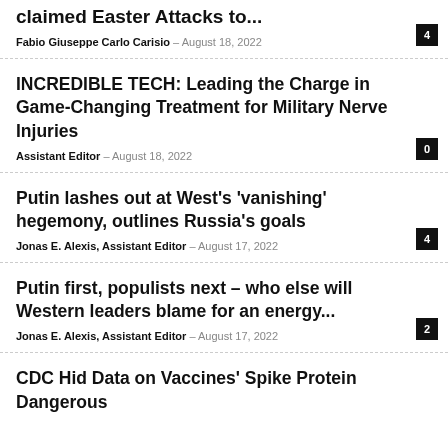claimed Easter Attacks to...
Fabio Giuseppe Carlo Carisio – August 18, 2022
INCREDIBLE TECH: Leading the Charge in Game-Changing Treatment for Military Nerve Injuries
Assistant Editor – August 18, 2022
Putin lashes out at West's 'vanishing' hegemony, outlines Russia's goals
Jonas E. Alexis, Assistant Editor – August 17, 2022
Putin first, populists next – who else will Western leaders blame for an energy...
Jonas E. Alexis, Assistant Editor – August 17, 2022
CDC Hid Data on Vaccines' Spike Protein Dangerous